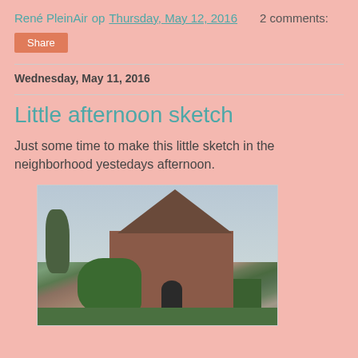René PleinAir op Thursday, May 12, 2016   2 comments:
Share
Wednesday, May 11, 2016
Little afternoon sketch
Just some time to make this little sketch in the neighborhood yestedays afternoon.
[Figure (photo): Oil painting / plein air sketch of a brick house with a dark arched doorway, surrounded by green bushes and hedges, with a tall pole/lamp post on the left side, painted in impressionist style.]